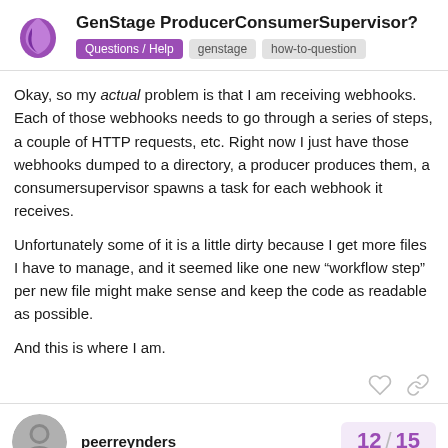GenStage ProducerConsumerSupervisor? | Questions / Help | genstage | how-to-question
Okay, so my actual problem is that I am receiving webhooks. Each of those webhooks needs to go through a series of steps, a couple of HTTP requests, etc. Right now I just have those webhooks dumped to a directory, a producer produces them, a consumersupervisor spawns a task for each webhook it receives.
Unfortunately some of it is a little dirty because I get more files I have to manage, and it seemed like one new “workflow step” per new file might make sense and keep the code as readable as possible.
And this is where I am.
peerreynders 12 / 15